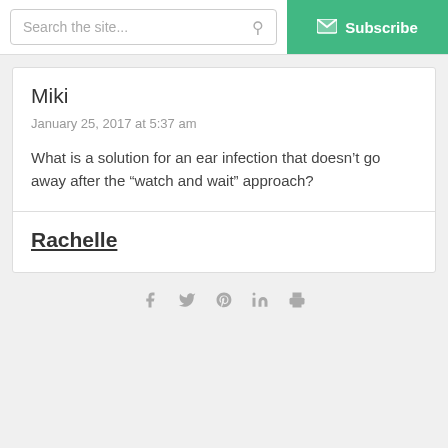Search the site...  Subscribe
Miki
January 25, 2017 at 5:37 am
What is a solution for an ear infection that doesn’t go away after the “watch and wait” approach?
Rachelle
[Figure (infographic): Social share icons: Facebook, Twitter, Pinterest, LinkedIn, Print]